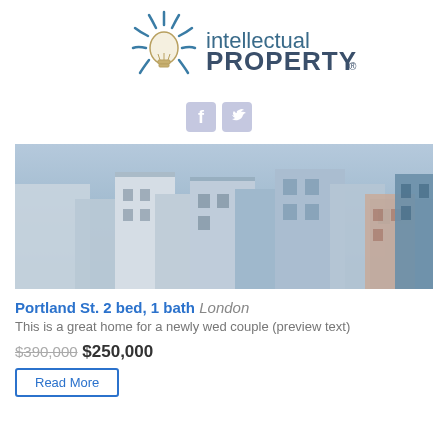[Figure (logo): Intellectual Property logo with lightbulb icon and swirl design]
[Figure (other): Social media icons: Facebook and Twitter]
[Figure (photo): Aerial photo of urban residential buildings/rooftops]
Portland St. 2 bed, 1 bath London
This is a great home for a newly wed couple (preview text)
$390,000 $250,000
Read More